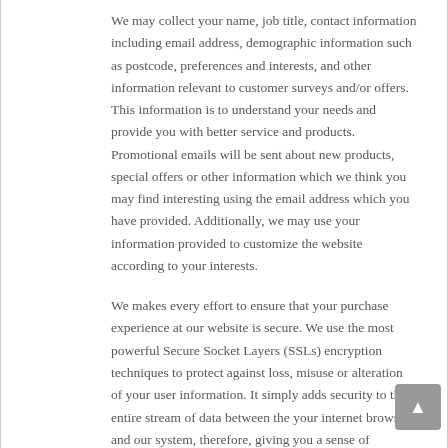We may collect your name, job title, contact information including email address, demographic information such as postcode, preferences and interests, and other information relevant to customer surveys and/or offers. This information is to understand your needs and provide you with better service and products. Promotional emails will be sent about new products, special offers or other information which we think you may find interesting using the email address which you have provided. Additionally, we may use your information provided to customize the website according to your interests.
We makes every effort to ensure that your purchase experience at our website is secure. We use the most powerful Secure Socket Layers (SSLs) encryption techniques to protect against loss, misuse or alteration of your user information. It simply adds security to the entire stream of data between the your internet browser and our system, therefore, giving you a sense of confidence in providing us with your card number. In addition, we use internet fraud screening to protect credit card transactions.